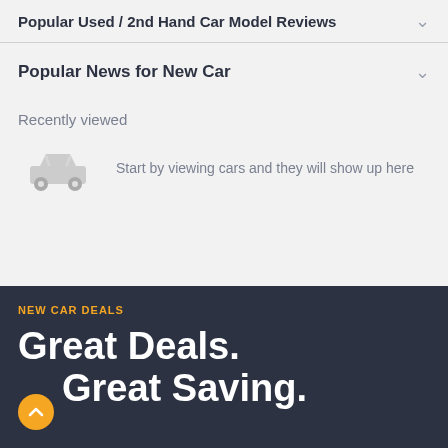Popular Used / 2nd Hand Car Model Reviews
Popular News for New Car
Recently viewed
[Figure (illustration): Grey car icon placeholder]
Start by viewing cars and they will show up here
NEW CAR DEALS
Great Deals. Great Saving.